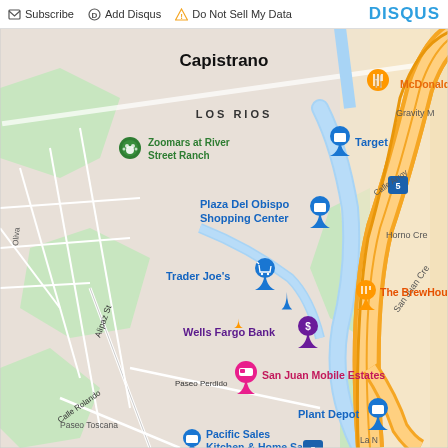Subscribe | Add Disqus | Do Not Sell My Data | DISQUS
[Figure (map): Google Maps view of San Juan Capistrano, CA area showing Capistrano neighborhood, Los Rios district, and Interstate 5. Landmarks include Zoomars at River Street Ranch, McDonald's, Target, Plaza Del Obispo Shopping Center, Trader Joe's, Wells Fargo Bank, The BrewHouse, San Juan Mobile Estates, Plant Depot, Pacific Sales Kitchen & Home San..., Gravity M, Horno Cre, San Juan Creek, Calle Arroyo, Calle Caballero, Capote De Pass, Calle Rolando, Alipaz St, Paseo Perdido, Paseo Toscana, La N.]